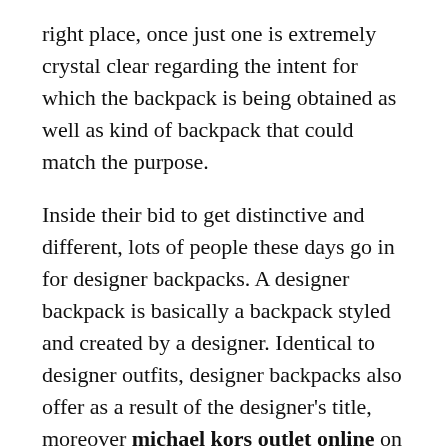right place, once just one is extremely crystal clear regarding the intent for which the backpack is being obtained as well as kind of backpack that could match the purpose.
Inside their bid to get distinctive and different, lots of people these days go in for designer backpacks. A designer backpack is basically a backpack styled and created by a designer. Identical to designer outfits, designer backpacks also offer as a result of the designer's title, moreover michael kors outlet online on the high quality and styling of the item.
These backpacks are getting to be a sort of a status symbol for your young crowds. Persons use them don't just to create a trend statement but in addition to replicate their status. Not just that, using designer backpacks by superstars and stars has also long gone a long way in popularizing them.